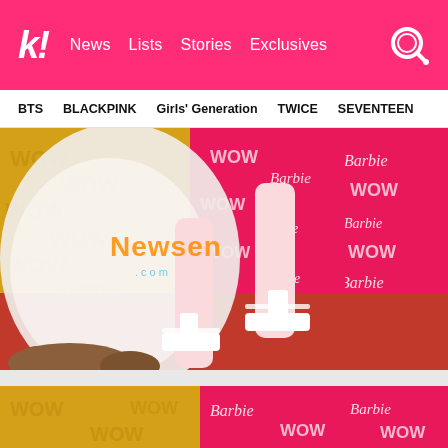k! News Lists Stories Exclusives
BTS  BLACKPINK  Girls' Generation  TWICE  SEVENTEEN
[Figure (photo): Close-up photo of a person wearing a white lace/floral dress and white platform heels with ankle straps, standing on a red carpet with a yellow 'WOW' step-and-repeat and pink 'Barbie WOW' step-and-repeat backdrop. A 'Newsen.com' watermark is visible on the photo.]
[Figure (photo): Partial view of a second photo showing a similar WOW and Barbie-branded backdrop with a figure partially visible at the bottom.]